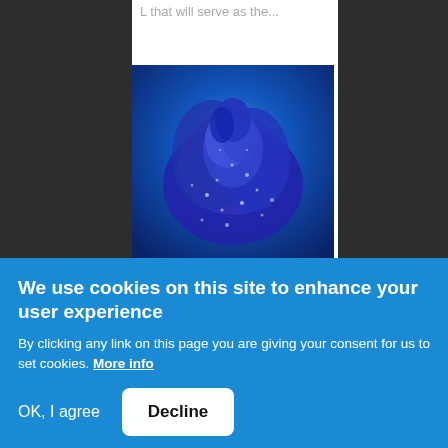L that will serve as the...
[Figure (photo): Close-up photograph of a blue/purple rose with water droplets on its petals against a blue background]
We use cookies on this site to enhance your user experience
By clicking any link on this page you are giving your consent for us to set cookies. More info
OK, I agree
Decline